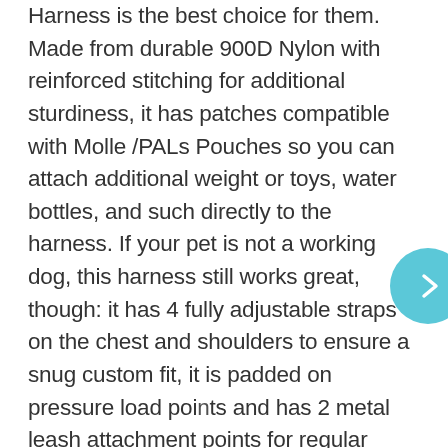Harness is the best choice for them. Made from durable 900D Nylon with reinforced stitching for additional sturdiness, it has patches compatible with Molle /PALs Pouches so you can attach additional weight or toys, water bottles, and such directly to the harness. If your pet is not a working dog, this harness still works great, though: it has 4 fully adjustable straps on the chest and shoulders to ensure a snug custom fit, it is padded on pressure load points and has 2 metal leash attachment points for regular walks and no-pull training. Auroth Tactical Dog Training Harness comes in 4 sizes and 12 patterns and colors to choose from.
[Figure (other): A teal/cyan circular navigation arrow button pointing right]